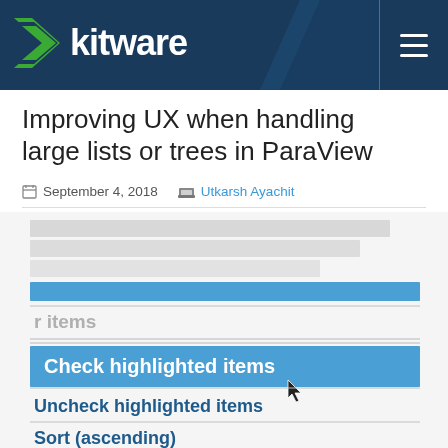Kitware
Improving UX when handling large lists or trees in ParaView
September 4, 2018   Utkarsh Ayachit
[Figure (screenshot): UI screenshot showing a context menu with 'Check highlighted items' highlighted in blue, 'Uncheck highlighted items', 'Sort (ascending)' menu items, and a mouse cursor pointing at the highlighted item.]